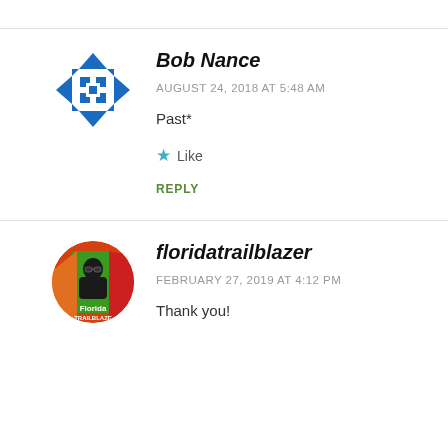[Figure (illustration): Bob Nance avatar: circular icon with blue and white geometric/grid pattern on white background]
Bob Nance
AUGUST 24, 2018 AT 5:48 AM
Past*
★ Like
REPLY
[Figure (photo): floridatrailblazer avatar: circular photo showing a person wearing sunglasses with Florida Trailblazer branding, green/orange/red colors]
floridatrailblazer
FEBRUARY 27, 2019 AT 4:12 PM
Thank you!